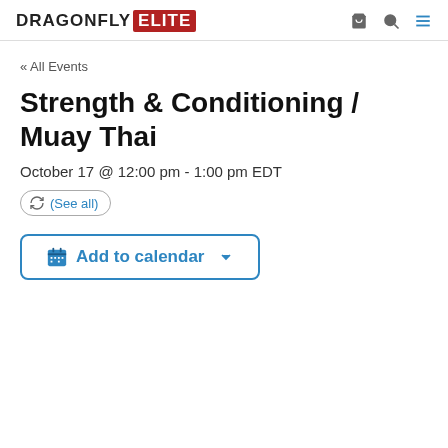DRAGONFLY ELITE
« All Events
Strength & Conditioning / Muay Thai
October 17 @ 12:00 pm - 1:00 pm EDT
(See all)
Add to calendar